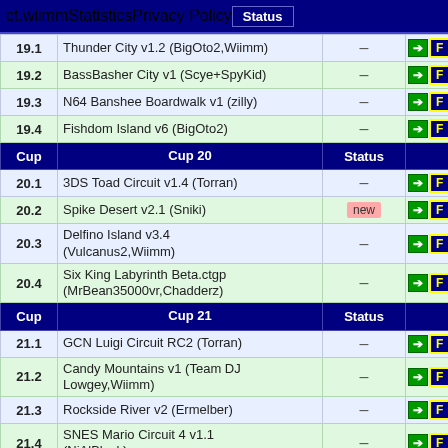ct.wiimm  Statistics  Privacy Policy  Status
| Cup | Name | Status |  |
| --- | --- | --- | --- |
| 19.1 | Thunder City v1.2 (BigOto2,Wiimm) | – |  |
| 19.2 | BassBasher City v1 (Scye+SpyKid) | – |  |
| 19.3 | N64 Banshee Boardwalk v1 (zilly) | – |  |
| 19.4 | Fishdom Island v6 (BigOto2) | – |  |
| Cup | Cup 20 | Status |  |
| 20.1 | 3DS Toad Circuit v1.4 (Torran) | – |  |
| 20.2 | Spike Desert v2.1 (Sniki) | new |  |
| 20.3 | Delfino Island v3.4 (Vulcanus2,Wiimm) | – |  |
| 20.4 | Six King Labyrinth Beta.ctgp (MrBean35000vr,Chadderz) | – |  |
| Cup | Cup 21 | Status |  |
| 21.1 | GCN Luigi Circuit RC2 (Torran) | – |  |
| 21.2 | Candy Mountains v1 (Team DJ Lowgey,Wiimm) | – |  |
| 21.3 | Rockside River v2 (Ermelber) | – |  |
| 21.4 | SNES Mario Circuit 4 v1.1 (NiAlBlack) | – |  |